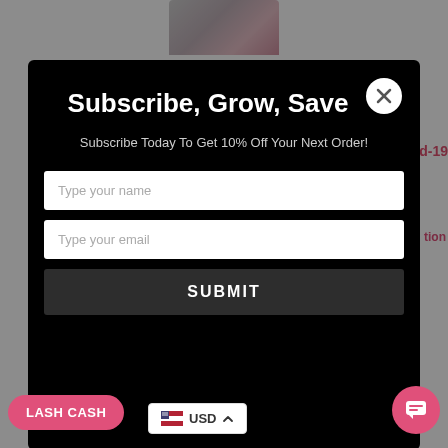[Figure (screenshot): Website popup modal with 'Subscribe, Grow, Save' newsletter signup form on dark background, with background website links visible]
Subscribe, Grow, Save
Subscribe Today To Get 10% Off Your Next Order!
Type your name
Type your email
SUBMIT
Beauty Business   Beginner   Brow Extensions
Brow How To   Brow Lamination   Business
Classic Lashes
LASH CASH
USD